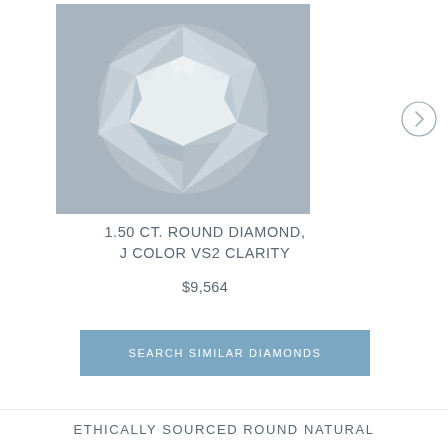[Figure (photo): A round brilliant cut diamond viewed from above, photographed against a medium gray background. The diamond shows detailed facets with reflections of white, light blue, and gray tones.]
1.50 CT. ROUND DIAMOND, J COLOR VS2 CLARITY
$9,564
SEARCH SIMILAR DIAMONDS
ETHICALLY SOURCED ROUND NATURAL